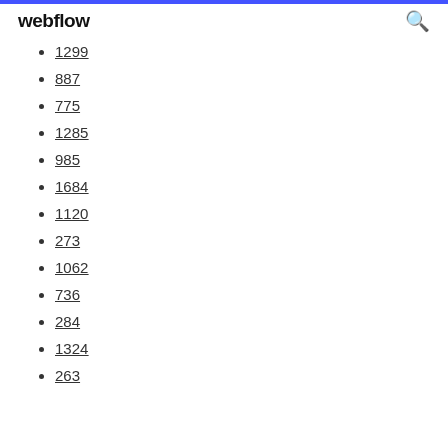webflow
1299
887
775
1285
985
1684
1120
273
1062
736
284
1324
263